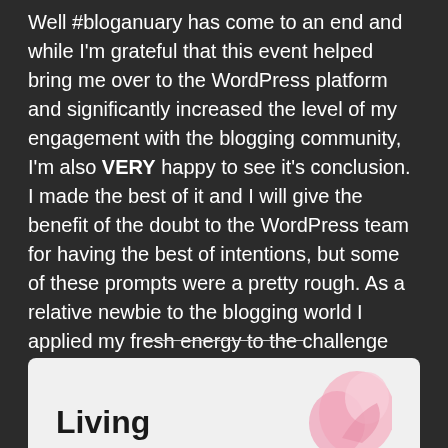Well #bloganuary has come to an end and while I'm grateful that this event helped bring me over to the WordPress platform and significantly increased the level of my engagement with the blogging community, I'm also VERY happy to see it's conclusion. I made the best of it and I will give the benefit of the doubt to the WordPress team for having the best of intentions, but some of these prompts were a pretty rough. As a relative newbie to the blogging world I applied my fresh energy to the challenge and tried my best to create some interesting content. Here is a recap of the top three posts from the series, and the worst performer (based on number of views).
[Figure (illustration): A card or image block with light gray/beige background showing the word 'Living' in bold dark text and a partial pink heart or floral illustration on the right side]